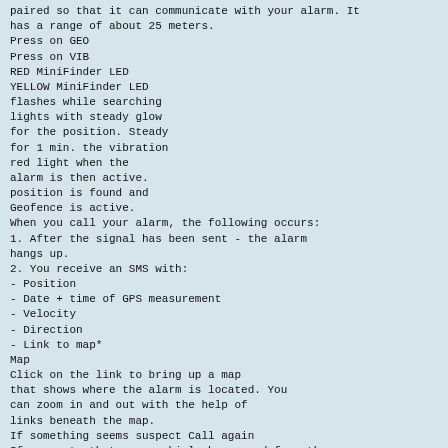paired so that it can communicate with your alarm. It has a range of about 25 meters.
Press on GEO
Press on VIB
RED MiniFinder LED
YELLOW MiniFinder LED
flashes while searching
lights with steady glow
for the position. Steady
for 1 min. the vibration
red light when the
alarm is then active.
position is found and
Geofence is active.
When you call your alarm, the following occurs:
1. After the signal has been sent - the alarm hangs up.
2. You receive an SMS with:
- Position
- Date + time of GPS measurement
- Velocity
- Direction
- Link to map*
Map
Click on the link to bring up a map that shows where the alarm is located. You can zoom in and out with the help of links beneath the map.
If something seems suspect Call again
If you note that your vehicle has moved from the place where it should be, you can follow the route by calling MiniFinder. If the vehicle is stolen, call the police!